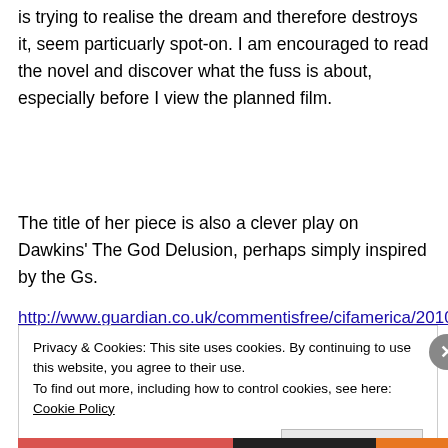is trying to realise the dream and therefore destroys it, seem particuarly spot-on. I am encouraged to read the novel and discover what the fuss is about, especially before I view the planned film.
The title of her piece is also a clever play on Dawkins' The God Delusion, perhaps simply inspired by the Gs.
http://www.guardian.co.uk/commentisfree/cifamerica/2010/
Privacy & Cookies: This site uses cookies. By continuing to use this website, you agree to their use. To find out more, including how to control cookies, see here: Cookie Policy